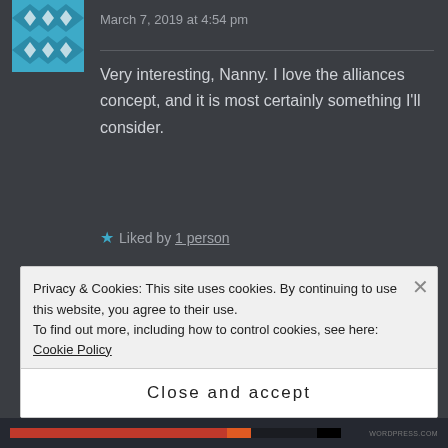March 7, 2019 at 4:54 pm
Very interesting, Nanny. I love the alliances concept, and it is most certainly something I'll consider.
Liked by 1 person
NANNYMARYANNE says: Reply
March 7, 2019 at 5:43 pm
Privacy & Cookies: This site uses cookies. By continuing to use this website, you agree to their use.
To find out more, including how to control cookies, see here: Cookie Policy
Close and accept